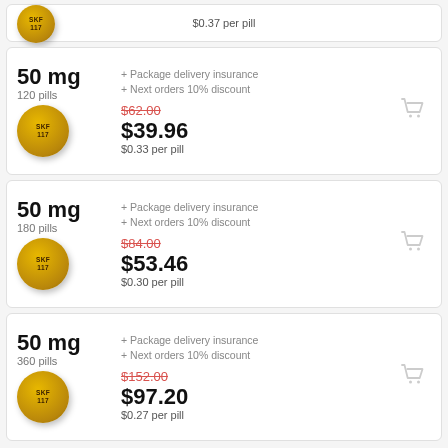$0.37 per pill
50 mg
120 pills
+ Package delivery insurance
+ Next orders 10% discount
$62.00 (strikethrough)
$39.96
$0.33 per pill
50 mg
180 pills
+ Package delivery insurance
+ Next orders 10% discount
$84.00 (strikethrough)
$53.46
$0.30 per pill
50 mg
360 pills
+ Package delivery insurance
+ Next orders 10% discount
$152.00 (strikethrough)
$97.20
$0.27 per pill